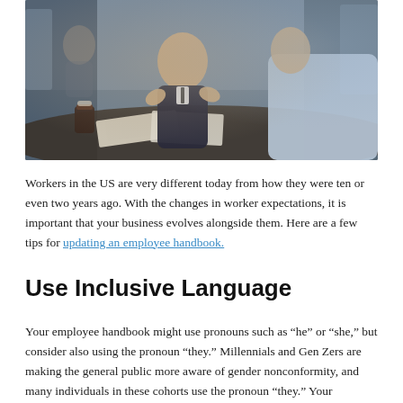[Figure (photo): Two people having a business meeting at a table with papers and a coffee cup; one older man in dark sweater gesturing with hands while speaking to another person in light blue clothing]
Workers in the US are very different today from how they were ten or even two years ago. With the changes in worker expectations, it is important that your business evolves alongside them. Here are a few tips for updating an employee handbook.
Use Inclusive Language
Your employee handbook might use pronouns such as “he” or “she,” but consider also using the pronoun “they.” Millennials and Gen Zers are making the general public more aware of gender nonconformity, and many individuals in these cohorts use the pronoun “they.” Your handbook should reflect inclusivity of non-traditional gender identities.